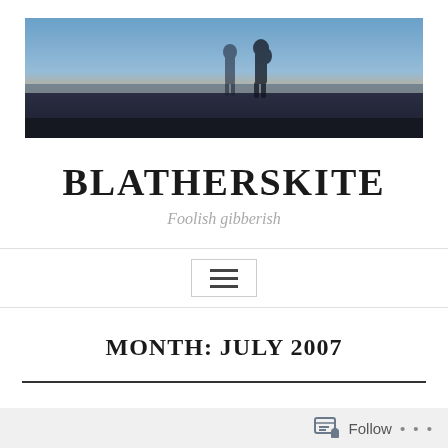[Figure (photo): Wide banner image of two silhouetted figures standing on a beach at sunset/dusk, with blue sky and warm horizon glow]
BLATHERSKITE
Foolish gibberish
[Figure (infographic): Navigation menu hamburger icon (three horizontal lines) inside a bordered box]
MONTH: JULY 2007
Follow ...